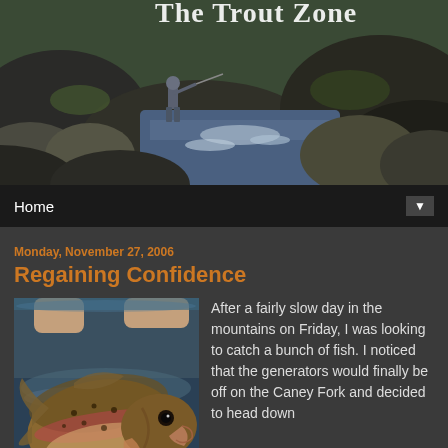[Figure (photo): Header photo of The Trout Zone website showing a fly fisherman casting in a rocky mountain stream with boulders and white water]
The Trout Zone
Home
Monday, November 27, 2006
Regaining Confidence
[Figure (photo): Close-up photo of a rainbow trout being held in water, showing its spotted side and open mouth]
After a fairly slow day in the mountains on Friday, I was looking to catch a bunch of fish. I noticed that the generators would finally be off on the Caney Fork and decided to head down